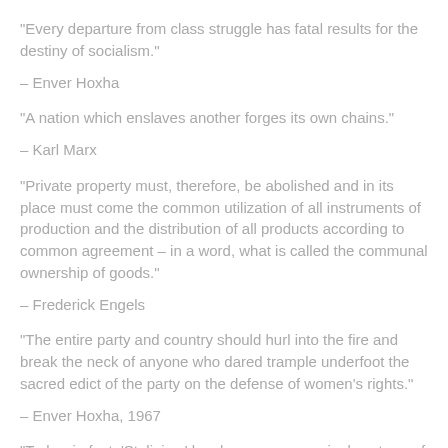“Every departure from class struggle has fatal results for the destiny of socialism.”
– Enver Hoxha
“A nation which enslaves another forges its own chains.”
– Karl Marx
“Private property must, therefore, be abolished and in its place must come the common utilization of all instruments of production and the distribution of all products according to common agreement – in a word, what is called the communal ownership of goods.”
– Frederick Engels
“The entire party and country should hurl into the fire and break the neck of anyone who dared trample underfoot the sacred edict of the party on the defense of women’s rights.”
– Enver Hoxha, 1967
“Today, in fact, ‘Stalinism’ has become a meaningless term of abuse...